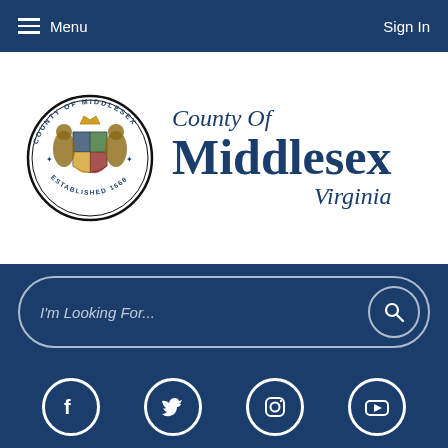Menu | Sign In
[Figure (logo): County of Middlesex Virginia logo with county seal showing coat of arms and text 'Established 1668']
I'm Looking For...
[Figure (infographic): Social media icons: Facebook, Twitter, Instagram, YouTube]
[Figure (photo): Outdoor scenic photo showing trees and sky near water]